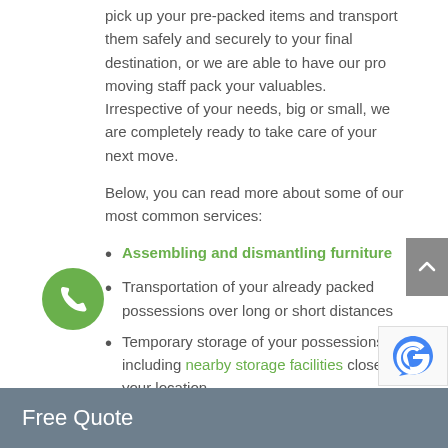pick up your pre-packed items and transport them safely and securely to your final destination, or we are able to have our pro moving staff pack your valuables. Irrespective of your needs, big or small, we are completely ready to take care of your next move.
Below, you can read more about some of our most common services:
Assembling and dismantling furniture
Transportation of your already packed possessions over long or short distances
Temporary storage of your possessions including nearby storage facilities close to your location
Expert packing and unpacking
Junk removal services for storage units in Virginia, office buildings, and houses
Free Quote